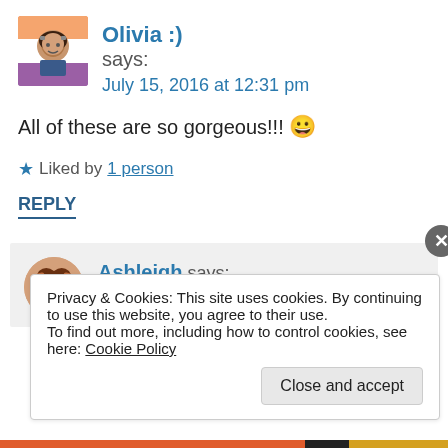Olivia :) says: July 15, 2016 at 12:31 pm
All of these are so gorgeous!!! 😀
★ Liked by 1 person
REPLY
Ashleigh says: July 15, 2016 at 1:17 pm
Privacy & Cookies: This site uses cookies. By continuing to use this website, you agree to their use.
To find out more, including how to control cookies, see here: Cookie Policy
Close and accept